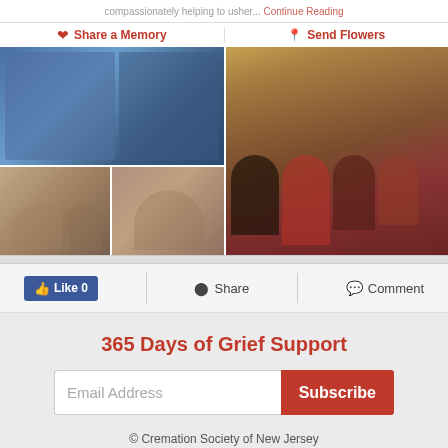compassionately helping to usher... Continue Reading
❤ Share a Memory
📍 Send Flowers
[Figure (photo): Photo collage: top left shows person in blue sweater with arm extended; bottom left two panels show elderly couple at table and older man in chair; right large panel shows group of four people including two women and an elderly couple at a restaurant]
👍 Like 0   Share   Comment
365 Days of Grief Support
Email Address  Subscribe
© Cremation Society of New Jersey
Website Designed by funeralOne
CONTACT | OBITUARIES | ABOUT | STORE